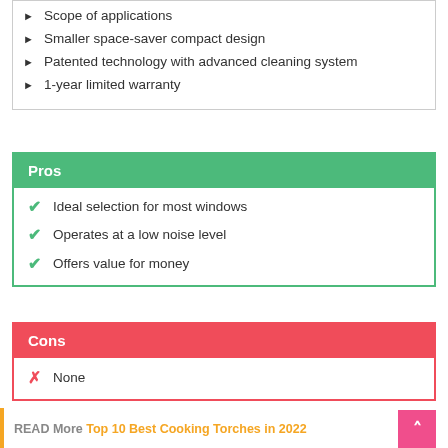Scope of applications
Smaller space-saver compact design
Patented technology with advanced cleaning system
1-year limited warranty
Pros
Ideal selection for most windows
Operates at a low noise level
Offers value for money
Cons
None
READ More Top 10 Best Cooking Torches in 2022